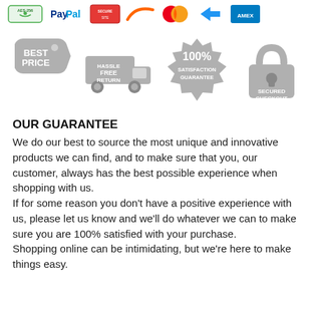[Figure (infographic): Row of payment method logos: AES-256, PayPal, a secure badge, an orange swoosh logo, Mastercard, an arrow logo, and American Express]
[Figure (infographic): Four gray trust badge icons: Best Price (price tag with stars), Hassle Free Return (truck), 100% Satisfaction Guarantee (seal), Secured Checkout (padlock)]
OUR GUARANTEE
We do our best to source the most unique and innovative products we can find, and to make sure that you, our customer, always has the best possible experience when shopping with us. If for some reason you don't have a positive experience with us, please let us know and we'll do whatever we can to make sure you are 100% satisfied with your purchase. Shopping online can be intimidating, but we're here to make things easy.